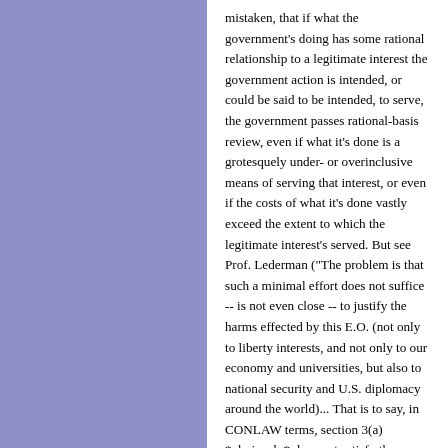mistaken, that if what the government's doing has some rational relationship to a legitimate interest the government action is intended, or could be said to be intended, to serve, the government passes rational-basis review, even if what it's done is a grotesquely under- or overinclusive means of serving that interest, or even if the costs of what it's done vastly exceed the extent to which the legitimate interest's served. But see Prof. Lederman ("The problem is that such a minimal effort does not suffice -- is not even close -- to justify the harms effected by this E.O. (not only to liberty interests, and not only to our economy and universities, but also to national security and U.S. diplomacy around the world)... That is to say, in CONLAW terms, section 3(a) *obviously* does not satisfy the rational basis test.")
Posted by: Asher Steinberg | Feb 6, 2017 2:05:34 PM
Marty, thanks for those comments. It occurs to me that PDP might require some sort of SDP theory to be successful. After all, imagine that